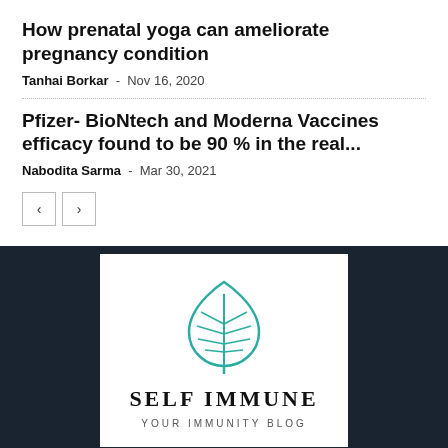How prenatal yoga can ameliorate pregnancy condition
Tanhai Borkar - Nov 16, 2020
Pfizer- BioNtech and Moderna Vaccines efficacy found to be 90 % in the real...
Nabodita Sarma - Mar 30, 2021
[Figure (logo): Self Immune - Your Immunity Blog logo with a teal leaf icon and text]
At SELF IMMUNE we post content helping you boost your Immunity...